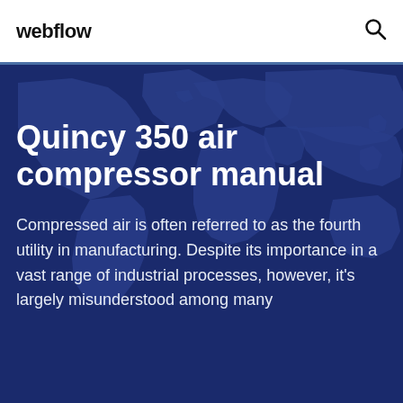webflow
[Figure (illustration): Dark blue world map illustration used as background for hero section]
Quincy 350 air compressor manual
Compressed air is often referred to as the fourth utility in manufacturing. Despite its importance in a vast range of industrial processes, however, it's largely misunderstood among many